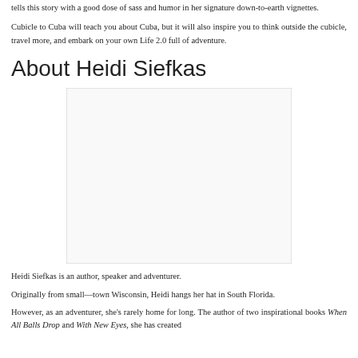tells this story with a good dose of sass and humor in her signature down-to-earth vignettes.
Cubicle to Cuba will teach you about Cuba, but it will also inspire you to think outside the cubicle, travel more, and embark on your own Life 2.0 full of adventure.
About Heidi Siefkas
[Figure (photo): Photo placeholder of Heidi Siefkas, shown as a white rectangle with light border]
Heidi Siefkas is an author, speaker and adventurer.
Originally from small—town Wisconsin, Heidi hangs her hat in South Florida.
However, as an adventurer, she's rarely home for long. The author of two inspirational books When All Balls Drop and With New Eyes, she has created